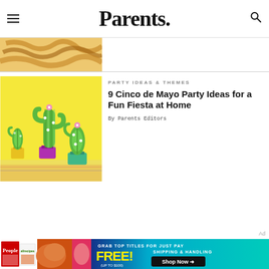Parents.
[Figure (photo): Partial top-cropped image showing what appears to be decorative twisted/braided food items on a light background]
[Figure (photo): Photo of three decorative knitted/craft cactus plants in colorful pots (yellow, purple, green) on a bright yellow background]
PARTY IDEAS & THEMES
9 Cinco de Mayo Party Ideas for a Fun Fiesta at Home
By Parents Editors
Ad
[Figure (infographic): Advertisement banner: Grab top titles for FREE! (up to $100) Just pay shipping & handling. Shop Now arrow. Shows People and allrecipes magazines.]